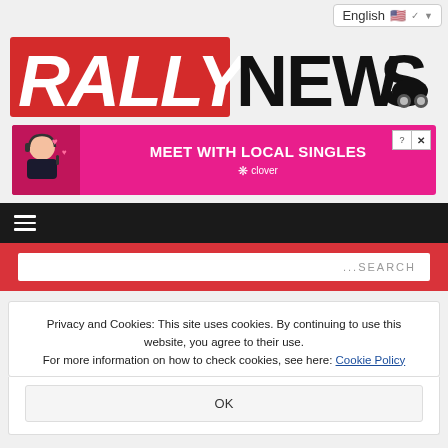English [flag] ▾
[Figure (logo): RallyNews logo — RALLY in red italic block letters, NEWS in black block letters with a rally car icon]
[Figure (infographic): Advertisement banner: pink background, woman with headset on left, 'MEET WITH LOCAL SINGLES' text, clover branding]
[Figure (other): Navigation bar with hamburger menu icon on dark/black background]
[Figure (other): Search bar on red background with '...SEARCH' placeholder text]
Privacy and Cookies: This site uses cookies. By continuing to use this website, you agree to their use. For more information on how to check cookies, see here: Cookie Policy
OK